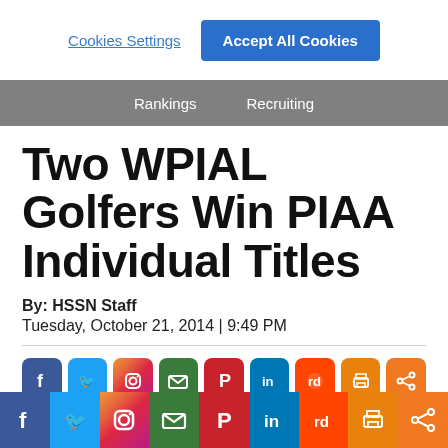Cookies Settings | Accept All Cookies
Rankings  Recruiting
Two WPIAL Golfers Win PIAA Individual Titles
By: HSSN Staff
Tuesday, October 21, 2014 | 9:49 PM
[Figure (infographic): Social media share icons row: Facebook, Twitter, Instagram, Email, Pinterest, LinkedIn, Reddit, Print, Share]
A pair of WPIAL golfers won state crowns in the two day PIAA Individual Golf Championships Tuesday at the Heritage
[Figure (infographic): Bottom social media bar: Facebook, Twitter, Instagram, Email, Pinterest, LinkedIn, Reddit, Print, Share]